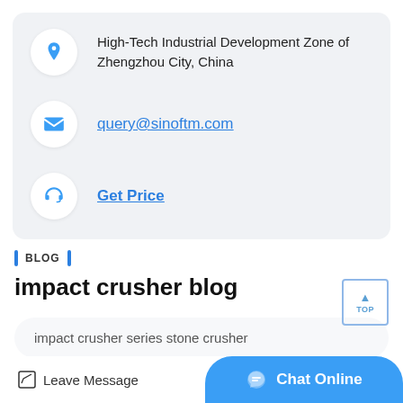High-Tech Industrial Development Zone of Zhengzhou City, China
query@sinoftm.com
Get Price
BLOG
impact crusher blog
impact crusher series stone crusher